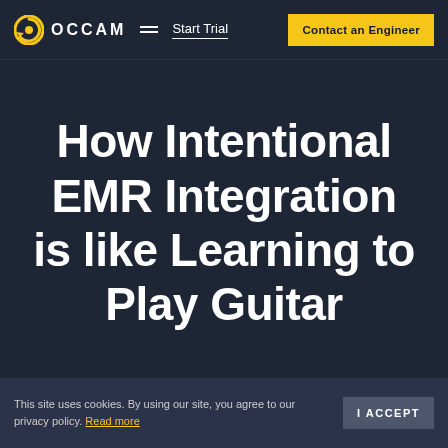[Figure (logo): OCCAM logo with yellow circular arrow icon and OCCAM text in white, navigation menu icon, Start Trial link, and Contact an Engineer yellow button]
How Intentional EMR Integration is like Learning to Play Guitar
This site uses cookies. By using our site, you agree to our privacy policy. Read more
I ACCEPT